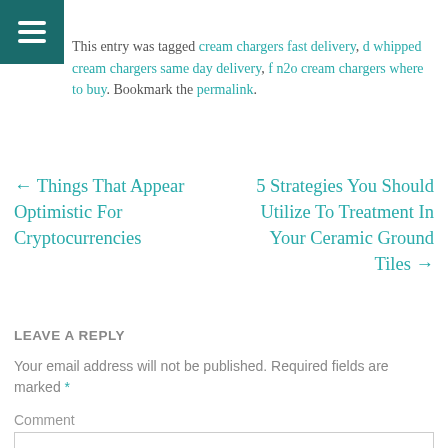≡
This entry was tagged cream chargers fast delivery, d whipped cream chargers same day delivery, f n2o cream chargers where to buy. Bookmark the permalink.
← Things That Appear Optimistic For Cryptocurrencies
5 Strategies You Should Utilize To Treatment In Your Ceramic Ground Tiles →
LEAVE A REPLY
Your email address will not be published. Required fields are marked *
Comment